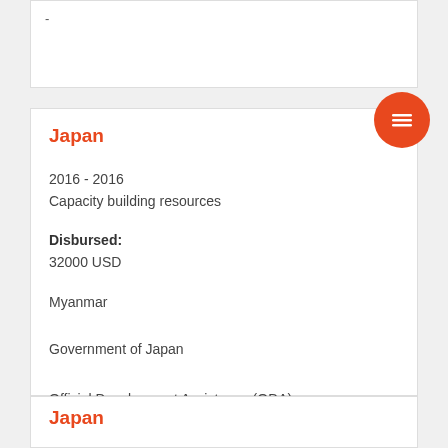-
Japan
2016 - 2016
Capacity building resources
Disbursed:
32000 USD
Myanmar
Government of Japan
Official Development Assistance (ODA)
Japan